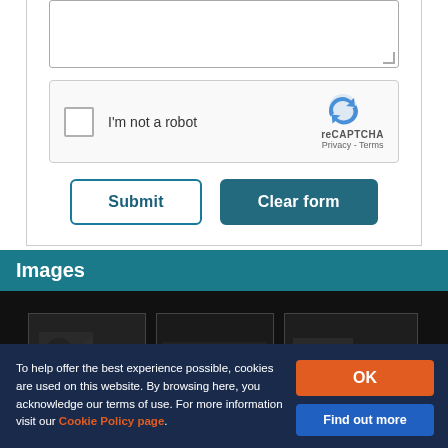[Figure (screenshot): Form section with textarea (top portion visible), reCAPTCHA checkbox widget, Submit and Clear form buttons]
Images
[Figure (photo): Dark image strip showing three thumbnail images against black background]
To help offer the best experience possible, cookies are used on this website. By browsing here, you acknowledge our terms of use. For more information visit our Cookie Policy page.